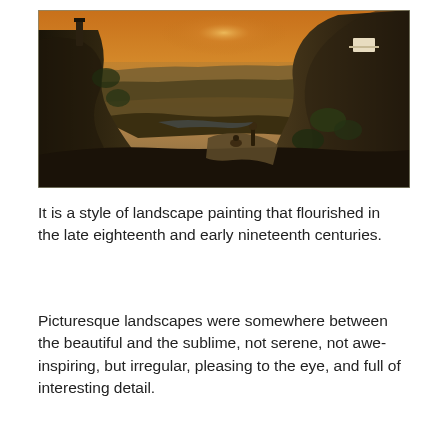[Figure (illustration): A romantic landscape oil painting depicting a dramatic valley scene at sunset/dusk. Rocky cliffs on the right with a white building, a tall tower or column on the left hilltop, a vast open valley stretching to the horizon with warm orange sky, and figures resting on a rocky outcrop in the foreground middle-right.]
It is a style of landscape painting that flourished in the late eighteenth and early nineteenth centuries.
Picturesque landscapes were somewhere between the beautiful and the sublime, not serene, not awe-inspiring, but irregular, pleasing to the eye, and full of interesting detail.